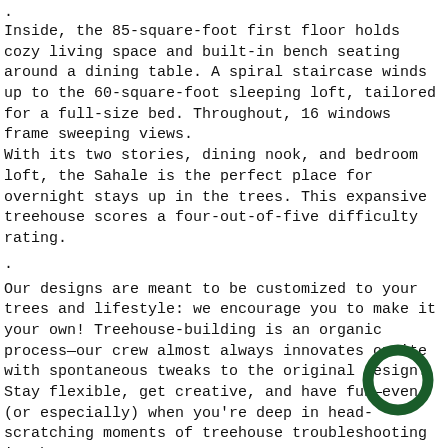.
Inside, the 85-square-foot first floor holds cozy living space and built-in bench seating around a dining table. A spiral staircase winds up to the 60-square-foot sleeping loft, tailored for a full-size bed. Throughout, 16 windows frame sweeping views.
With its two stories, dining nook, and bedroom loft, the Sahale is the perfect place for overnight stays up in the trees. This expansive treehouse scores a four-out-of-five difficulty rating.
.
Our designs are meant to be customized to your trees and lifestyle: we encourage you to make it your own! Treehouse-building is an organic process—our crew almost always innovates onsite with spontaneous tweaks to the original design. Stay flexible, get creative, and have fun—even (or especially) when you're deep in head-scratching moments of treehouse troubleshooting in the trees!
[Figure (logo): Dark green circular ring logo]